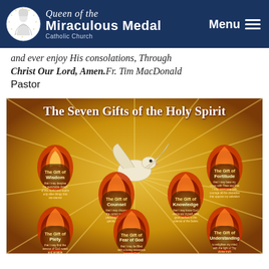Queen of the Miraculous Medal Catholic Church — Menu
and ever enjoy His consolations, Through Christ Our Lord, Amen. Fr. Tim MacDonald Pastor
[Figure (illustration): Illustrated image titled 'The Seven Gifts of the Holy Spirit' showing a white dove in the center surrounded by seven flame-shaped medallions labeling each gift: The Gift of Wisdom, The Gift of Counsel, The Gift of Piety, The Gift of Fear of God, The Gift of Knowledge, The Gift of Fortitude, The Gift of Understanding, with golden sunburst background.]